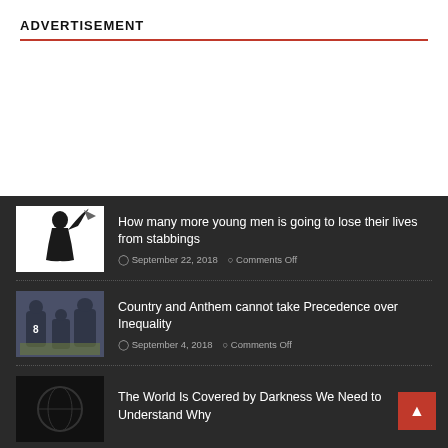ADVERTISEMENT
How many more young men is going to lose their lives from stabbings | September 22, 2018 | Comments Off
Country and Anthem cannot take Precedence over Inequality | September 4, 2018 | Comments Off
The World Is Covered by Darkness We Need to Understand Why